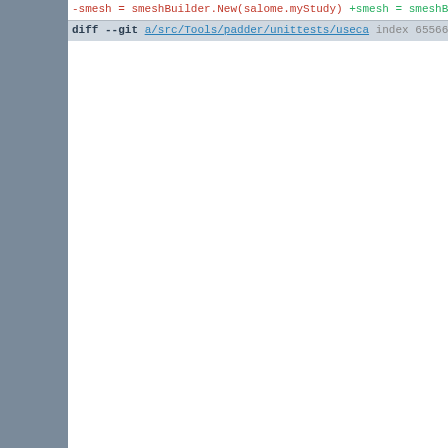[Figure (screenshot): A code diff view showing changes to Python source files related to SMESH/SALOME mesh building. The diff shows removed lines (red), added lines (green), context lines (black), and hunk headers (purple). Two diff sections are visible: one for a plugin dialog file and one for a unit test file.]